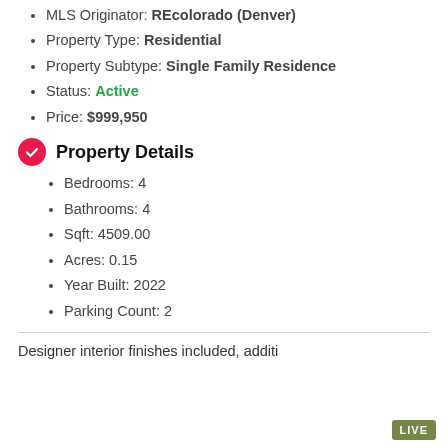MLS Originator: REcolorado (Denver)
Property Type: Residential
Property Subtype: Single Family Residence
Status: Active
Price: $999,950
Property Details
Bedrooms: 4
Bathrooms: 4
Sqft: 4509.00
Acres: 0.15
Year Built: 2022
Parking Count: 2
Designer interior finishes included, additional